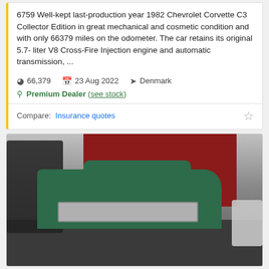6759 Well-kept last-production year 1982 Chevrolet Corvette C3 Collector Edition in great mechanical and cosmetic condition and with only 66379 miles on the odometer. The car retains its original 5.7- liter V8 Cross-Fire Injection engine and automatic transmission, ...
66,379 | 23 Aug 2022 | Denmark
Premium Dealer (see stock)
Compare: Insurance quotes
[Figure (photo): Photo of a green classic Chevrolet pickup truck parked in a garage/showroom with a red wall background. Another dark truck is visible on the left and a white/silver car partially visible on the right.]